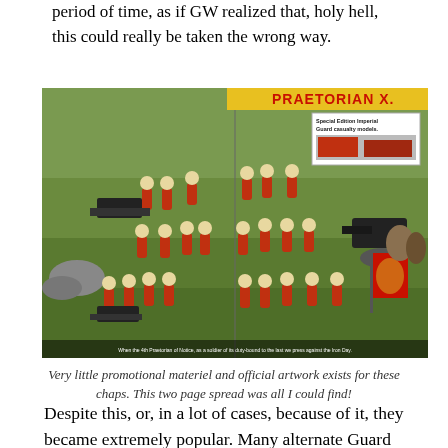period of time, as if GW realized that, holy hell, this could really be taken the wrong way.
[Figure (photo): A two-page magazine spread showing Praetorian Imperial Guard miniatures (Warhammer 40K) — red-uniformed soldiers in a green outdoor diorama setting, with a yellow banner reading 'PRAETORIAN X' at top and an inset box showing 'Special Edition Imperial Guard casualty models.']
Very little promotional materiel and official artwork exists for these chaps. This two page spread was all I could find!
Despite this, or, in a lot of cases, because of it, they became extremely popular. Many alternate Guard